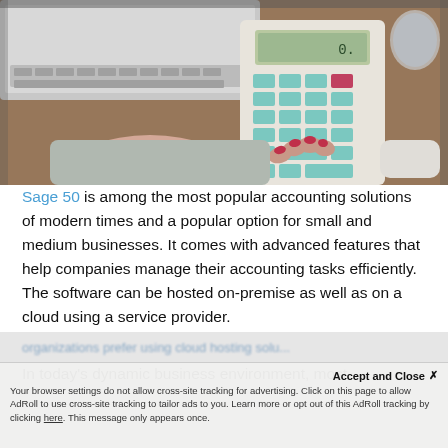[Figure (photo): Person with manicured red nails using a calculator on a desk with a laptop in the background.]
Sage 50 is among the most popular accounting solutions of modern times and a popular option for small and medium businesses. It comes with advanced features that help companies manage their accounting tasks efficiently. The software can be hosted on-premise as well as on a cloud using a service provider.
In today's dynamic business environment, most organizations prefer using cloud hosting solu...
Accept and Close ✕
Your browser settings do not allow cross-site tracking for advertising. Click on this page to allow AdRoll to use cross-site tracking to tailor ads to you. Learn more or opt out of this AdRoll tracking by clicking here. This message only appears once.